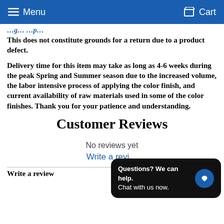Menu  Cart
This does not constitute grounds for a return due to a product defect.
Delivery time for this item may take as long as 4-6 weeks during the peak Spring and Summer season due to the increased volume, the labor intensive process of applying the color finish, and current availability of raw materials used in some of the color finishes. Thank you for your patience and understanding.
Customer Reviews
No reviews yet
Write a revi…
Write a review